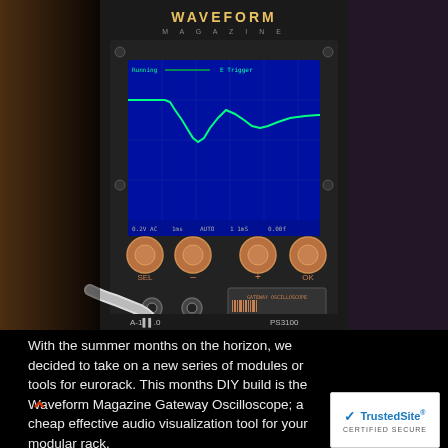[Figure (photo): Photo of a Waveform Magazine Gateway Oscilloscope eurorack module. The black panel shows an oscilloscope display screen showing a waveform, four orange/gold control knobs labeled SEL, -, +, OK, two input jacks labeled T and THRU, and a barcode label reading 'GATEWAY OSCILLOSCOPE'. Labels at bottom show A-1... and PS3100. A hand/cable is visible plugging in a connector.]
With the summer months on the horizon, we decided to take on a new series of modules or tools for eurorack. This months DIY build is the Waveform Magazine Gateway Oscilloscope; a cheap effective audio visualization tool for your modular rack.
[Figure (logo): TrustedSite CERTIFIED SECURE badge with blue checkmark]